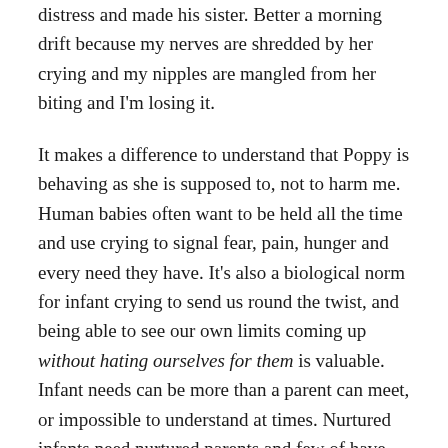distress and made his sister. Better a morning drift because my nerves are shredded by her crying and my nipples are mangled from her biting and I'm losing it.
It makes a difference to understand that Poppy is behaving as she is supposed to, not to harm me. Human babies often want to be held all the time and use crying to signal fear, pain, hunger and every need they have. It's also a biological norm for infant crying to send us round the twist, and being able to see our own limits coming up without hating ourselves for them is valuable. Infant needs can be more than a parent can meet, or impossible to understand at times. Nurtured infants need nurtured parents and few of have invested in those kinds of communities before bringing a baby into the world.
Parent needs are deeply important to meet in order to